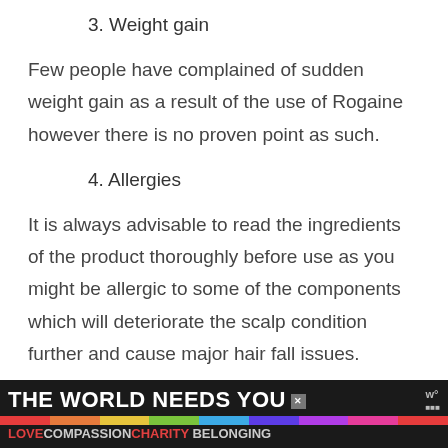3. Weight gain
Few people have complained of sudden weight gain as a result of the use of Rogaine however there is no proven point as such.
4. Allergies
It is always advisable to read the ingredients of the product thoroughly before use as you might be allergic to some of the components which will deteriorate the scalp condition further and cause major hair fall issues.
[Figure (infographic): Advertisement banner reading 'THE WORLD NEEDS YOU' with rainbow colored bar and text 'LOVE COMPASSION CHARITY BELONGING' on dark background]